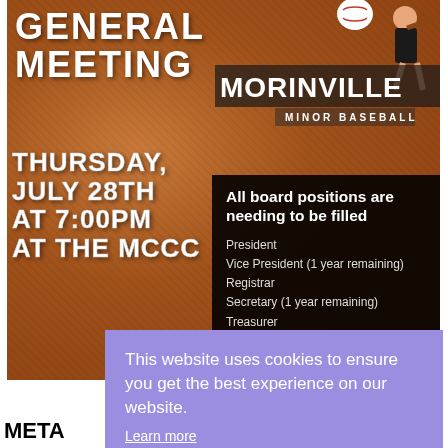[Figure (infographic): Morinville Minor Baseball general meeting announcement poster on a sandy/earthy background texture. Left side shows 'GENERAL MEETING' in large white bold text, below it 'THURSDAY, JULY 28TH AT 7:00PM AT THE MCCC'. Top right has the Morinville Minor Baseball logo with a batter silhouette. A black box lists board positions needing to be filled: President, Vice President (1 year remaining), Registrar, Secretary (1 year remaining), Treasurer.]
This website uses cookies to ensure you get the best experience on our website. Learn more
Got it
META